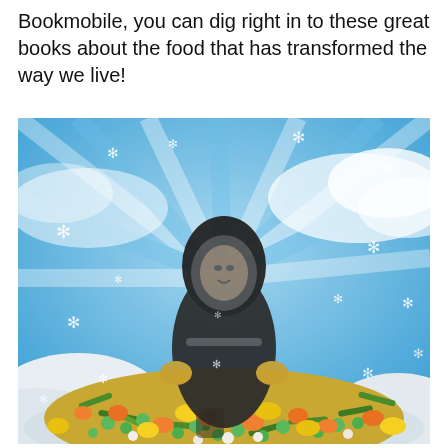Bookmobile, you can dig right in to these great books about the food that has transformed the way we live!
[Figure (illustration): A person dressed in a fur-lined arctic parka coat standing on a mound of colorful frozen mixed vegetables (peas, carrots, green beans, corn), set against a vivid blue sky with radiating light rays and scattered white snowflake decorations. The figure appears to be a vintage black-and-white photograph composited onto the colorful background.]